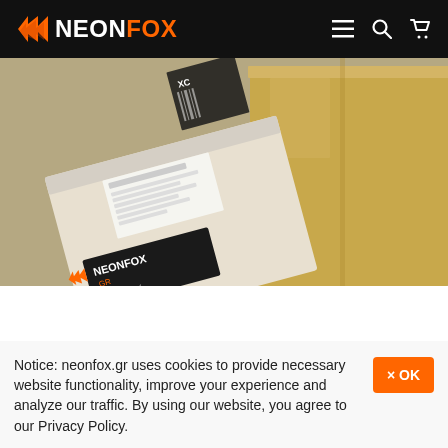NEONFOX
[Figure (photo): Cardboard shipping boxes with NEONFOX.GR branded labels/stickers, stacked together on a surface.]
Notice: neonfox.gr uses cookies to provide necessary website functionality, improve your experience and analyze our traffic. By using our website, you agree to our Privacy Policy.